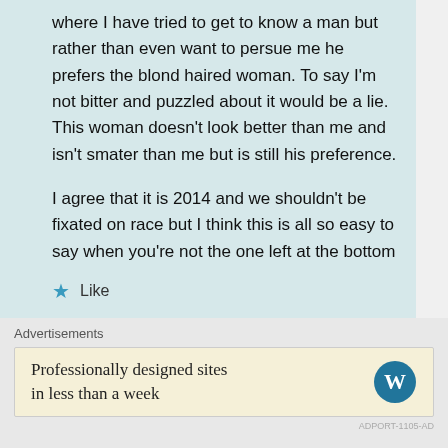where I have tried to get to know a man but rather than even want to persue me he prefers the blond haired woman. To say I'm not bitter and puzzled about it would be a lie. This woman doesn't look better than me and isn't smater than me but is still his preference.

I agree that it is 2014 and we shouldn't be fixated on race but I think this is all so easy to say when you're not the one left at the bottom of the pile. Even the future generation of young children only see the value of white skin, again another experience I have witnessed all too well. We must learn to love ourselves and not allow our history and prejudice to dictate our future.
Like
Advertisements
Professionally designed sites in less than a week